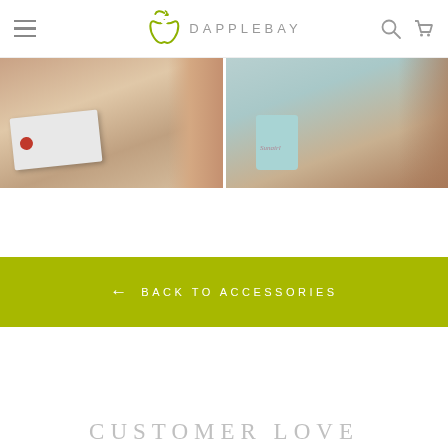DAPPLEBAY
[Figure (photo): Two product photos side by side: left shows a hand holding a card/notebook with a small red apple sticker; right shows a light blue candle or cup with cursive text on a blurred background]
← BACK TO ACCESSORIES
CUSTOMER LOVE